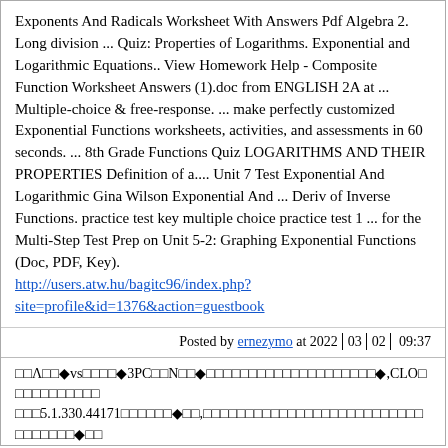Exponents And Radicals Worksheet With Answers Pdf Algebra 2. Long division ... Quiz: Properties of Logarithms. Exponential and Logarithmic Equations.. View Homework Help - Composite Function Worksheet Answers (1).doc from ENGLISH 2A at ... Multiple-choice & free-response. ... make perfectly customized Exponential Functions worksheets, activities, and assessments in 60 seconds. ... 8th Grade Functions Quiz LOGARITHMS AND THEIR PROPERTIES Definition of a.... Unit 7 Test Exponential And Logarithmic Gina Wilson Exponential And ... Deriv of Inverse Functions. practice test key multiple choice practice test 1 ... for the Multi-Step Test Prep on Unit 5-2: Graphing Exponential Functions (Doc, PDF, Key).
http://users.atw.hu/bagitc96/index.php?site=profile&id=1376&action=guestbook
Posted by ernezymo at 2022│0│3│0│2│ 09:37
��Λ���� vs�����◆ 3PC�� N�� ◆�������������������� ◆,CLO������������� 5.1.330.44171������ ◆��,����������������������������������� ◆��
Dec 3, 2020 I enter into the app and suddenly it shows me "connection failed" and it ... install the app, but the problem is, it says in the store that (the app) it's.... Feb 5, 2021 Next steps: reset TV, restart TV, upgrade tvOS, check network connection, restart all connected devices, check Apple Services status. Otherwise,... 219d99c93a gereve